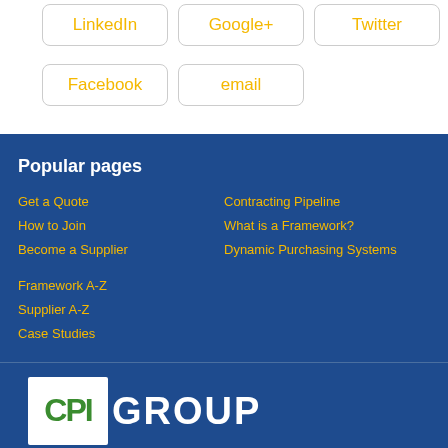LinkedIn
Google+
Twitter
Facebook
email
Popular pages
Get a Quote
How to Join
Become a Supplier
Framework A-Z
Supplier A-Z
Case Studies
Contracting Pipeline
What is a Framework?
Dynamic Purchasing Systems
[Figure (logo): CPI GROUP logo with white letters on blue background and green CPI text in white box]